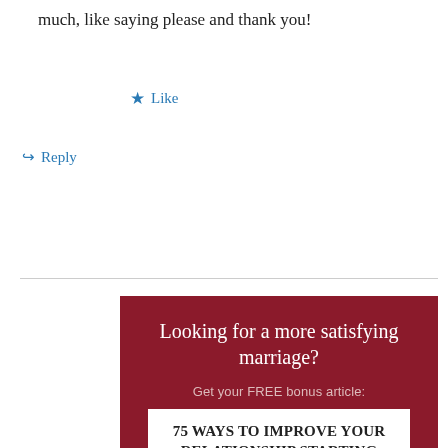much, like saying please and thank you!
★ Like
↪ Reply
[Figure (infographic): Dark red advertisement box: 'Looking for a more satisfying marriage? Get your FREE bonus article: 75 WAYS TO IMPROVE YOUR RELATIONSHIP STARTING TODAY! Plus new posts delivered right to your inbox. Enter your email address below']